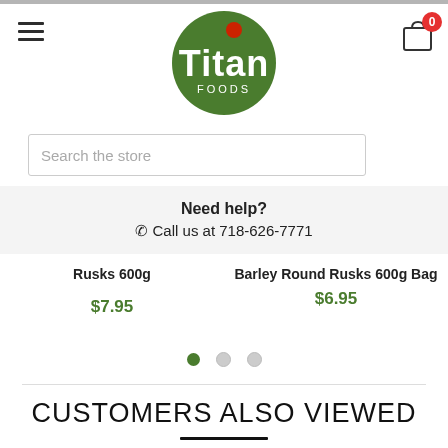[Figure (logo): Titan Foods logo - green circle with white Titan Foods text and red dot]
Search the store
Need help?
☎ Call us at 718-626-7771
Rusks 600g
$7.95
Barley Round Rusks 600g Bag
$6.95
CUSTOMERS ALSO VIEWED